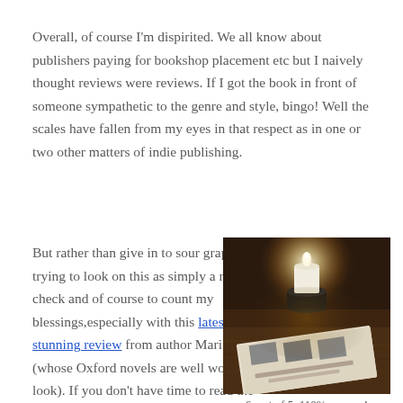Overall, of course I'm dispirited. We all know about publishers paying for bookshop placement etc but I naively thought reviews were reviews. If I got the book in front of someone sympathetic to the genre and style, bingo! Well the scales have fallen from my eyes in that respect as in one or two other matters of indie publishing.
But rather than give in to sour grapes I'm trying to look on this as simply a reality check and of course to count my blessings,especially with this latest stunning review from author Mari Howard (whose Oxford novels are well worth a look). If you don't have time to read the whole review I can tell you She has given In the Blink of an Eye 6 stars out of 5!. So huge
[Figure (photo): A lit candle on a wooden surface with a book cover featuring 'Ali Bacon' visible underneath in dim candlelight]
6  out of 5. 110% success!